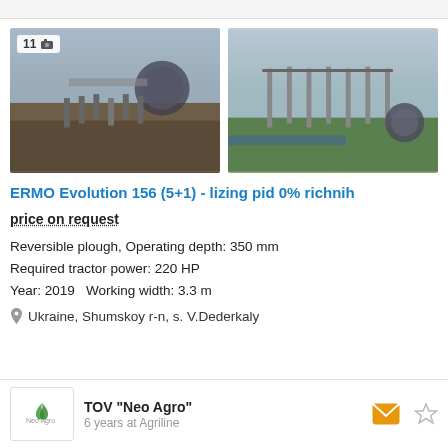[Figure (photo): Left photo: reversible plough agricultural equipment working in a field, tractor pulling the plough through dark soil, cloudy sky in background. Badge showing '11' and camera icon.]
[Figure (photo): Right photo: close-up of reversible plough equipment parked near a waterway with green grass, cloudy sky.]
ERMO Evolution 156 (5+1) - lizing pid 0% richnih
price on request
Reversible plough, Operating depth: 350 mm
Required tractor power: 220 HP
Year: 2019   Working width: 3.3 m
Ukraine, Shumskoy r-n, s. V.Dederkaly
TOV "Neo Agro"
6 years at Agriline